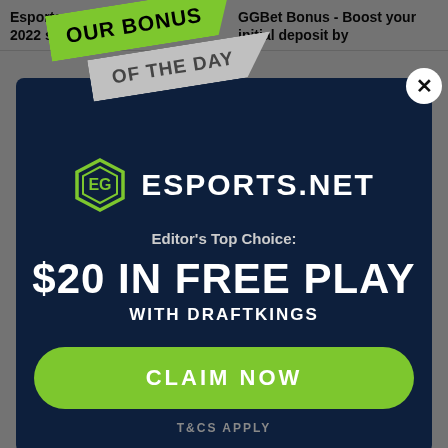Esports stocks: Find the best 2022 stocks
GGBet Bonus - Boost your initial deposit by
[Figure (infographic): Promotional modal overlay for Esports.net featuring 'OUR BONUS OF THE DAY' ribbon banner, Esports.net logo, Editor's Top Choice: $20 IN FREE PLAY WITH DRAFTKINGS, and a green CLAIM NOW button with T&CS APPLY text]
Editor's Top Choice:
$20 IN FREE PLAY
WITH DRAFTKINGS
CLAIM NOW
T&CS APPLY